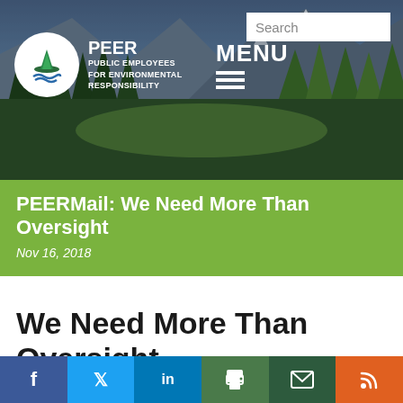[Figure (screenshot): PEER website header with mountain/forest landscape background, PEER logo (white circle with tree/capitol icon), organization name 'PEER Public Employees for Environmental Responsibility', MENU navigation, and Search box]
PEERMail: We Need More Than Oversight
Nov 16, 2018
We Need More Than Oversight
During the past For the past years, i w t e
[Figure (screenshot): Social share buttons bar: Facebook (blue), Twitter (light blue), LinkedIn (dark blue), Print (dark green), Email (dark green), RSS (orange)]